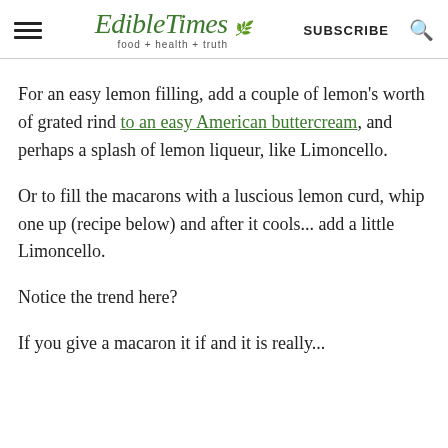EdibleTimes food + health + truth | SUBSCRIBE
For an easy lemon filling, add a couple of lemon's worth of grated rind to an easy American buttercream, and perhaps a splash of lemon liqueur, like Limoncello.
Or to fill the macarons with a luscious lemon curd, whip one up (recipe below) and after it cools... add a little Limoncello.
Notice the trend here?
If you give a macaron it if and it is really...